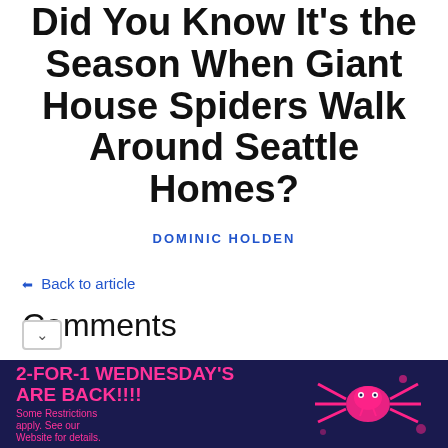Did You Know It's the Season When Giant House Spiders Walk Around Seattle Homes?
DOMINIC HOLDEN
← Back to article
Comments
Are you sure it's not a hobo spider?
http://www.srv.net/~dky/hobospider/femho
[Figure (illustration): Advertisement banner: 2-FOR-1 WEDNESDAY'S ARE BACK!!!! Some Restrictions apply. See our Website for details. Dark navy background with pink/magenta text and cartoon spider illustration.]